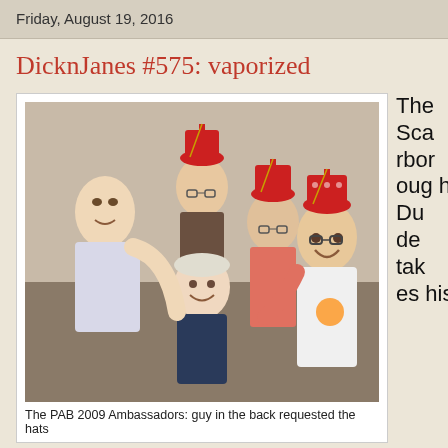Friday, August 19, 2016
DicknJanes #575: vaporized
[Figure (photo): Group photo of five people smiling together, three wearing red fez hats. Caption: The PAB 2009 Ambassadors: guy in the back requested the hats]
The PAB 2009 Ambassadors: guy in the back requested the hats
The Scarborough Dude takes his new G Pro vaporizer out for a test run...
Music:
Biding My Time - Pink Floyd - Relics
A Sweet Little Bullet From A Pretty Blue Gun - Tom